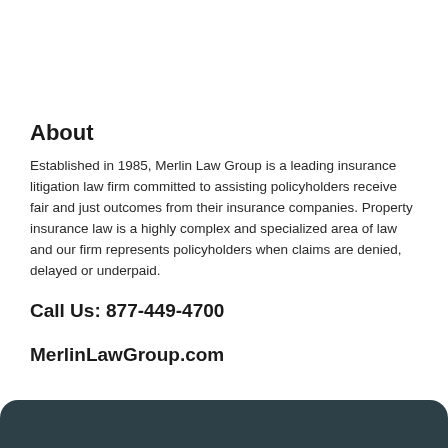About
Established in 1985, Merlin Law Group is a leading insurance litigation law firm committed to assisting policyholders receive fair and just outcomes from their insurance companies. Property insurance law is a highly complex and specialized area of law and our firm represents policyholders when claims are denied, delayed or underpaid.
Call Us: 877-449-4700
MerlinLawGroup.com